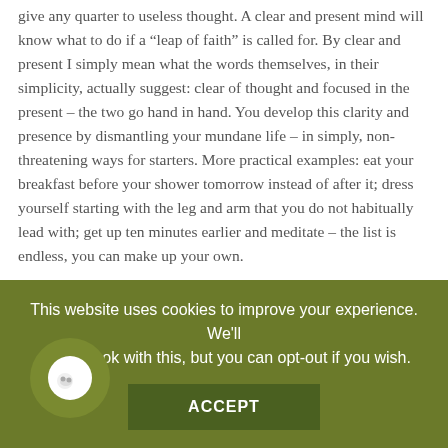give any quarter to useless thought. A clear and present mind will know what to do if a “leap of faith” is called for. By clear and present I simply mean what the words themselves, in their simplicity, actually suggest: clear of thought and focused in the present – the two go hand in hand. You develop this clarity and presence by dismantling your mundane life – in simply, non-threatening ways for starters. More practical examples: eat your breakfast before your shower tomorrow instead of after it; dress yourself starting with the leg and arm that you do not habitually lead with; get up ten minutes earlier and meditate – the list is endless, you can make up your own.
This website uses cookies to improve your experience. We'll assume you're ok with this, but you can opt-out if you wish.
ACCEPT